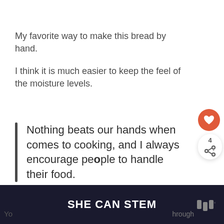My favorite way to make this bread by hand.
I think it is much easier to keep the feel of the moisture levels.
Nothing beats our hands when comes to cooking, and I always encourage people to handle their food.
SHE CAN STEM